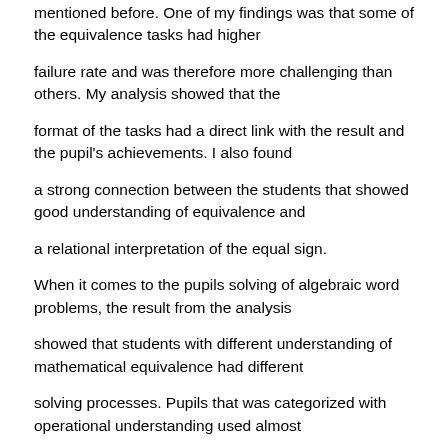mentioned before. One of my findings was that some of the equivalence tasks had higher
failure rate and was therefore more challenging than others. My analysis showed that the
format of the tasks had a direct link with the result and the pupil's achievements. I also found
a strong connection between the students that showed good understanding of equivalence and
a relational interpretation of the equal sign.
When it comes to the pupils solving of algebraic word problems, the result from the analysis
showed that students with different understanding of mathematical equivalence had different
solving processes. Pupils that was categorized with operational understanding used almost
exclusively strategies that is related to elementary word problems that shows no signs of
understanding the functional relationship between the values. On the other hand, the students